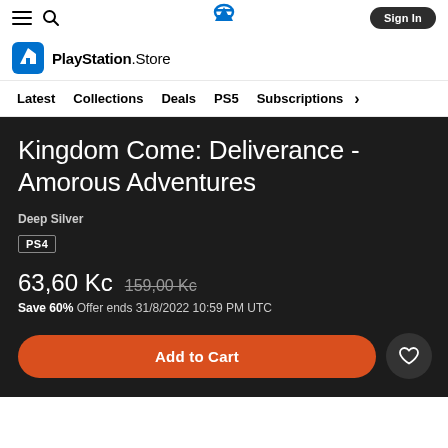PlayStation Store navigation header with hamburger menu, search icon, PlayStation logo, and Sign In button
[Figure (logo): PlayStation Store logo with shopping bag icon and text 'PlayStation Store']
Latest  Collections  Deals  PS5  Subscriptions >
Kingdom Come: Deliverance - Amorous Adventures
Deep Silver
PS4
63,60 Kc  159,00 Kc
Save 60%  Offer ends 31/8/2022 10:59 PM UTC
Add to Cart